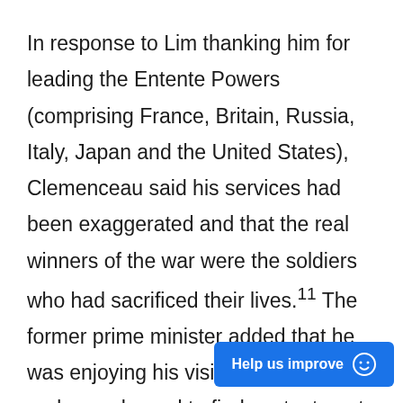In response to Lim thanking him for leading the Entente Powers (comprising France, Britain, Russia, Italy, Japan and the United States), Clemenceau said his services had been exaggerated and that the real winners of the war were the soldiers who had sacrificed their lives.[11] The former prime minister added that he was enjoying his visit to Singapore and was pleased to find contentment written on the faces of the various people he met. This made him feel like he was back in...